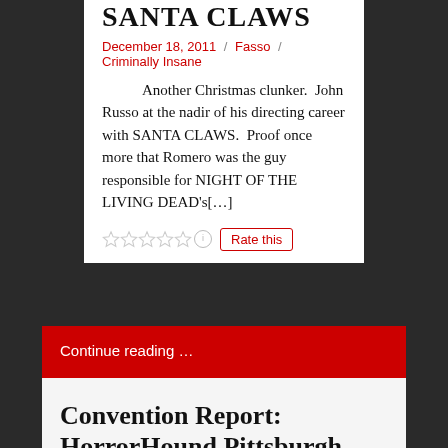SANTA CLAWS
December 18, 2011 / Fasso / Criminally Insane
Another Christmas clunker. John Russo at the nadir of his directing career with SANTA CLAWS. Proof once more that Romero was the guy responsible for NIGHT OF THE LIVING DEAD's[…]
Rate this
Continue reading …
Convention Report: HorrorHound Pittsburgh